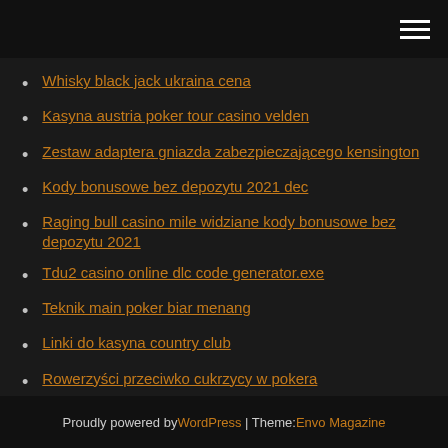[hamburger menu icon]
Whisky black jack ukraina cena
Kasyna austria poker tour casino velden
Zestaw adaptera gniazda zabezpieczającego kensington
Kody bonusowe bez depozytu 2021 dec
Raging bull casino mile widziane kody bonusowe bez depozytu 2021
Tdu2 casino online dlc code generator.exe
Teknik main poker biar menang
Linki do kasyna country club
Rowerzyści przeciwko cukrzycy w pokera
Proudly powered by WordPress | Theme: Envo Magazine